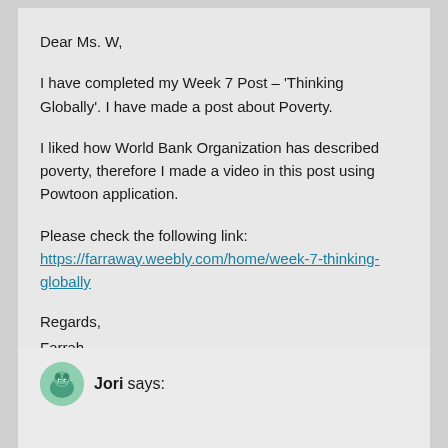Dear Ms. W,
I have completed my Week 7 Post – 'Thinking Globally'. I have made a post about Poverty.
I liked how World Bank Organization has described poverty, therefore I made a video in this post using Powtoon application.
Please check the following link: https://farraway.weebly.com/home/week-7-thinking-globally
Regards,
Farrah
REPLY
Jori says: